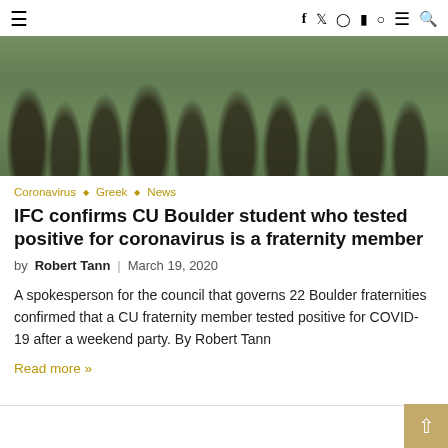≡  f  twitter  instagram  youtube  spotify  ≡  🔍
[Figure (photo): Crowd of students at an outdoor gathering, green-tinted photo]
Coronavirus ◇ Greek ◇ News
IFC confirms CU Boulder student who tested positive for coronavirus is a fraternity member
by Robert Tann | March 19, 2020
A spokesperson for the council that governs 22 Boulder fraternities confirmed that a CU fraternity member tested positive for COVID-19 after a weekend party. By Robert Tann
Read more »